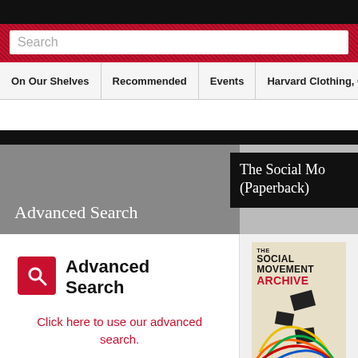[Figure (screenshot): Harvard Bookstore website screenshot showing search bar, navigation menu with On Our Shelves, Recommended, Events, Harvard Clothing Gifts tabs, Advanced Search section with red icon and link, and Social Movement Archive book cover]
Search
On Our Shelves | Recommended | Events | Harvard Clothing, Gif...
The Social Mo... (Paperback)
Advanced Search
Advanced Search
Click here to use our advanced search.